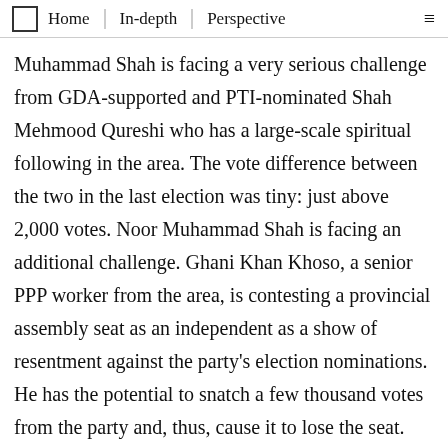Home | In-depth | Perspective
Muhammad Shah is facing a very serious challenge from GDA-supported and PTI-nominated Shah Mehmood Qureshi who has a large-scale spiritual following in the area. The vote difference between the two in the last election was tiny: just above 2,000 votes. Noor Muhammad Shah is facing an additional challenge. Ghani Khan Khoso, a senior PPP worker from the area, is contesting a provincial assembly seat as an independent as a show of resentment against the party's election nominations. He has the potential to snatch a few thousand votes from the party and, thus, cause it to lose the seat. But, like in the last election, the contest is a cliffhanger.